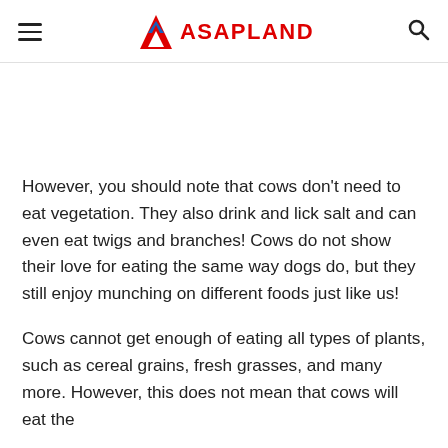ASAPLAND
However, you should note that cows don't need to eat vegetation. They also drink and lick salt and can even eat twigs and branches! Cows do not show their love for eating the same way dogs do, but they still enjoy munching on different foods just like us!
Cows cannot get enough of eating all types of plants, such as cereal grains, fresh grasses, and many more. However, this does not mean that cows will eat the